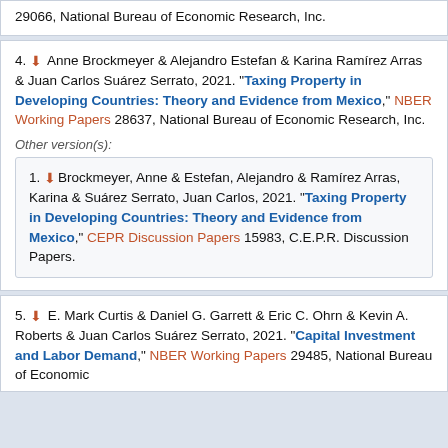29066, National Bureau of Economic Research, Inc.
4. Anne Brockmeyer & Alejandro Estefan & Karina Ramírez Arras & Juan Carlos Suárez Serrato, 2021. "Taxing Property in Developing Countries: Theory and Evidence from Mexico," NBER Working Papers 28637, National Bureau of Economic Research, Inc.
Other version(s):
1. Brockmeyer, Anne & Estefan, Alejandro & Ramírez Arras, Karina & Suárez Serrato, Juan Carlos, 2021. "Taxing Property in Developing Countries: Theory and Evidence from Mexico," CEPR Discussion Papers 15983, C.E.P.R. Discussion Papers.
5. E. Mark Curtis & Daniel G. Garrett & Eric C. Ohrn & Kevin A. Roberts & Juan Carlos Suárez Serrato, 2021. "Capital Investment and Labor Demand," NBER Working Papers 29485, National Bureau of Economic